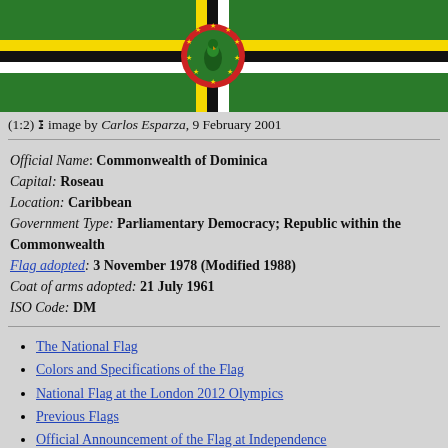[Figure (illustration): Flag of the Commonwealth of Dominica — green background with central cross of yellow, black, and white vertical/horizontal stripes, and a circular emblem at center featuring a Sisserou parrot in red, green, and yellow with stars.]
(1:2) ⊞ image by Carlos Esparza, 9 February 2001
Official Name: Commonwealth of Dominica
Capital: Roseau
Location: Caribbean
Government Type: Parliamentary Democracy; Republic within the Commonwealth
Flag adopted: 3 November 1978 (Modified 1988)
Coat of arms adopted: 21 July 1961
ISO Code: DM
The National Flag
Colors and Specifications of the Flag
National Flag at the London 2012 Olympics
Previous Flags
Official Announcement of the Flag at Independence
Vertical Hoisting
Subdivisions
See also: